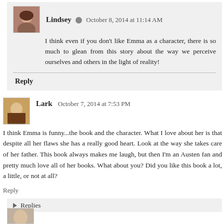Lindsey  October 8, 2014 at 11:14 AM
I think even if you don't like Emma as a character, there is so much to glean from this story about the way we perceive ourselves and others in the light of reality!
Reply
Lark  October 7, 2014 at 7:53 PM
I think Emma is funny...the book and the character. What I love about her is that despite all her flaws she has a really good heart. Look at the way she takes care of her father. This book always makes me laugh, but then I'm an Austen fan and pretty much love all of her books. What about you? Did you like this book a lot, a little, or not at all?
Reply
Replies